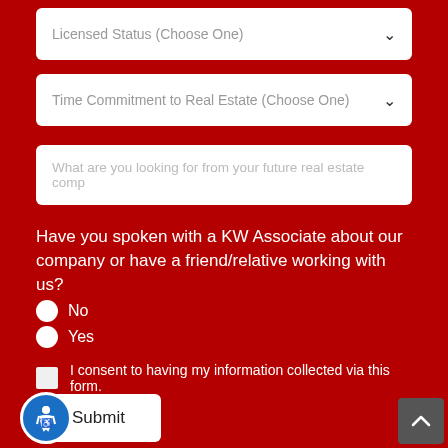Licensed Status (Choose One)
Time Commitment to Real Estate (Choose One)
What are you looking for from your future real estate comp
Have you spoken with a KW Associate about our company or have a friend/relative working with us?
No
Yes
I consent to having my information collected via this form.
Submit